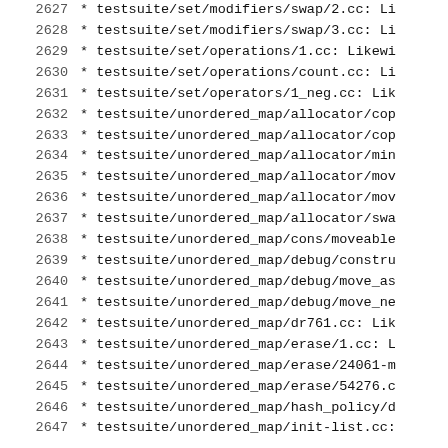2627    * testsuite/set/modifiers/swap/2.cc: Li
2628    * testsuite/set/modifiers/swap/3.cc: Li
2629    * testsuite/set/operations/1.cc: Likewi
2630    * testsuite/set/operations/count.cc: Li
2631    * testsuite/set/operators/1_neg.cc: Lik
2632    * testsuite/unordered_map/allocator/cop
2633    * testsuite/unordered_map/allocator/cop
2634    * testsuite/unordered_map/allocator/min
2635    * testsuite/unordered_map/allocator/mov
2636    * testsuite/unordered_map/allocator/mov
2637    * testsuite/unordered_map/allocator/swa
2638    * testsuite/unordered_map/cons/moveable
2639    * testsuite/unordered_map/debug/constru
2640    * testsuite/unordered_map/debug/move_as
2641    * testsuite/unordered_map/debug/move_ne
2642    * testsuite/unordered_map/dr761.cc: Lik
2643    * testsuite/unordered_map/erase/1.cc: L
2644    * testsuite/unordered_map/erase/24061-m
2645    * testsuite/unordered_map/erase/54276.c
2646    * testsuite/unordered_map/hash_policy/d
2647    * testsuite/unordered_map/init-list.cc: